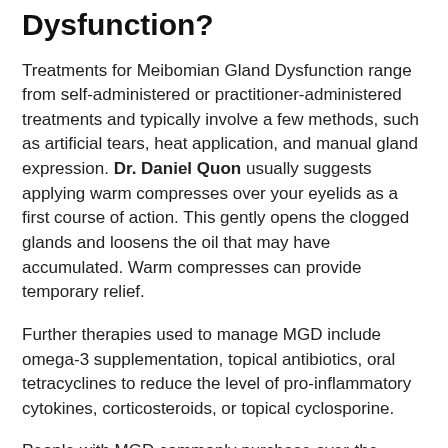Dysfunction?
Treatments for Meibomian Gland Dysfunction range from self-administered or practitioner-administered treatments and typically involve a few methods, such as artificial tears, heat application, and manual gland expression. Dr. Daniel Quon usually suggests applying warm compresses over your eyelids as a first course of action. This gently opens the clogged glands and loosens the oil that may have accumulated. Warm compresses can provide temporary relief.
Further therapies used to manage MGD include omega-3 supplementation, topical antibiotics, oral tetracyclines to reduce the level of pro-inflammatory cytokines, corticosteroids, or topical cyclosporine.
People with MGD commonly purchase over-the-counter eye drops to lubricate their eyes. Unfortunately, these drops tend to provide only transient relief, because, without an adequate layer of Meibomian Gland oil, the liquid from the drops simply evaporate off of the eye. Dr. Daniel Quon at South Coast Optometry can recommend the appropriate eye drops or